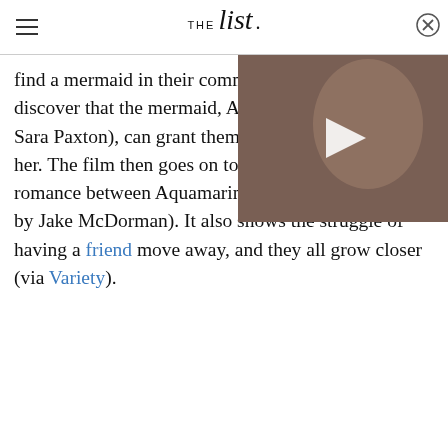THE list
[Figure (photo): Video thumbnail showing a woman with dark hair, overlaid with a play button icon. Close button (X) in top right corner.]
find a mermaid in their comm discover that the mermaid, A Sara Paxton), can grant them her. The film then goes on to show the budding romance between Aquamarine and Raymond (played by Jake McDorman). It also shows the struggle of having a friend move away, and they all grow closer (via Variety).